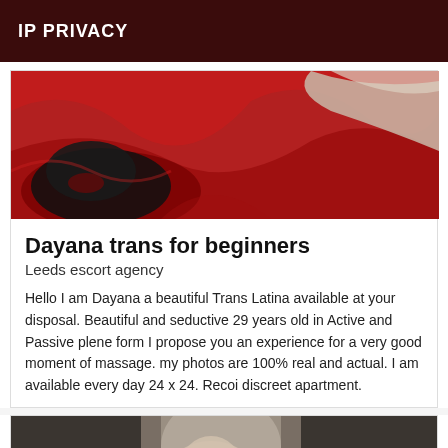IP PRIVACY
[Figure (photo): A close-up photo of red crumpled fabric/bedsheet with black and white areas visible.]
Dayana trans for beginners
Leeds escort agency
Hello I am Dayana a beautiful Trans Latina available at your disposal. Beautiful and seductive 29 years old in Active and Passive plene form I propose you an experience for a very good moment of massage. my photos are 100% real and actual. I am available every day 24 x 24. Recoi discreet apartment.
[Figure (photo): Bottom partial photo showing a person, with a 'Verified' badge in the bottom right corner on a dark red background.]